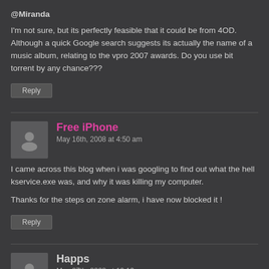@Miranda
I'm not sure, but its perfectly feasible that it could be from 4OD. Although a quick Google search suggests its actually the name of a music album, relating to the vpro 2007 awards. Do you use bit torrent by any chance???
Reply
Free iPhone
May 16th, 2008 at 4:50 am
I came across this blog when i was googling to find out what the hell kservice.exe was, and why it was killing my computer.
Thanks for the steps on zone alarm, i have now blocked it !
Reply
Happs
May 27th, 2008 at 10:19 pm